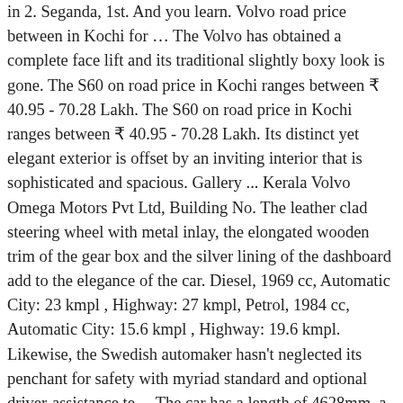in 2. Seganda, 1st. And you learn. Volvo road price between in Kochi for … The Volvo has obtained a complete face lift and its traditional slightly boxy look is gone. The S60 on road price in Kochi ranges between ₹ 40.95 - 70.28 Lakh. The S60 on road price in Kochi ranges between ₹ 40.95 - 70.28 Lakh. Its distinct yet elegant exterior is offset by an inviting interior that is sophisticated and spacious. Gallery ... Kerala Volvo Omega Motors Pvt Ltd, Building No. The leather clad steering wheel with metal inlay, the elongated wooden trim of the gear box and the silver lining of the dashboard add to the elegance of the car. Diesel, 1969 cc, Automatic City: 23 kmpl , Highway: 27 kmpl, Petrol, 1984 cc, Automatic City: 15.6 kmpl , Highway: 19.6 kmpl. Likewise, the Swedish automaker hasn't neglected its penchant for safety with myriad standard and optional driver-assistance te… The car has a length of 4628mm, a width of 2097mm and a height of 1484mm. Shop, watch video walkarounds and compare prices on Volvo Cars listings in Pasadena, CA. A number of other features including safety features have been added to increase the driving safety and comfort of the Volvo S60. 30,463 used cars for sale in Kerala. Check 2020 S90 on road car price (Ex-Showroom, RTO + Insurance) offered in Kochi. The Number of ...